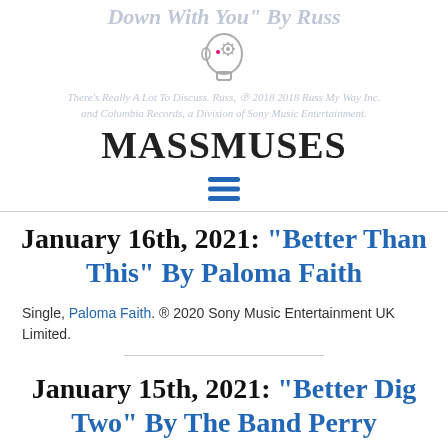Down With You" By Russ
[Figure (illustration): Head silhouette icon with gear/brain inside, MassMuses website logo icon]
There's Really A Lot To Discuss. Russ, ℗ 2018 2018 Russ My Way Inc. and Columbia Records, a Division of Sony Music Entertainment.
MASSMUSES
[Figure (other): Hamburger menu icon (three horizontal blue lines)]
January 16th, 2021: "Better Than This" By Paloma Faith
Single, Paloma Faith. ® 2020 Sony Music Entertainment UK Limited.
January 15th, 2021: "Better Dig Two" By The Band Perry
Pioneer album, The Band Perry. ® This compilation ®